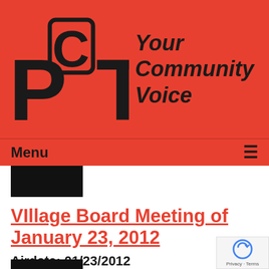[Figure (logo): PCTV logo with text 'Your Community Voice' on red background]
Menu ≡
[Figure (photo): Black redacted thumbnail image]
VIllage Board Meeting of January 23, 2012
Airdate: 01/23/2012
Watched: 758 times